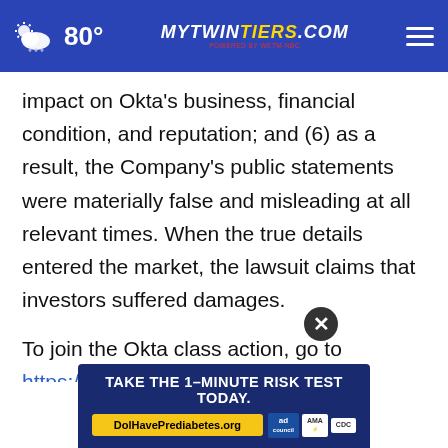80° mytwintiers.com
impact on Okta's business, financial condition, and reputation; and (6) as a result, the Company's public statements were materially false and misleading at all relevant times. When the true details entered the market, the lawsuit claims that investors suffered damages.
To join the Okta class action, go to https://rosenlegal.com/submit-form/?case_id=6365 or call Phillip Kim, Esq. toll free at 86[...].com or cases@rosenlegal.com for information on the
[Figure (screenshot): Advertisement banner: TAKE THE 1-MINUTE RISK TEST TODAY. DolHavePrediabetes.org with AMA and CDC badges]